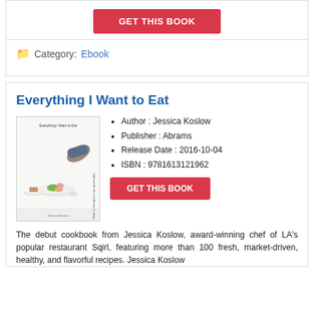GET THIS BOOK
Category: Ebook
Everything I Want to Eat
[Figure (illustration): Book cover of 'Everything I Want to Eat' by Jessica Koslow showing food dishes on white background]
Author : Jessica Koslow
Publisher : Abrams
Release Date : 2016-10-04
ISBN : 9781613121962
GET THIS BOOK
The debut cookbook from Jessica Koslow, award-winning chef of LA's popular restaurant Sqirl, featuring more than 100 fresh, market-driven, healthy, and flavorful recipes. Jessica Koslow